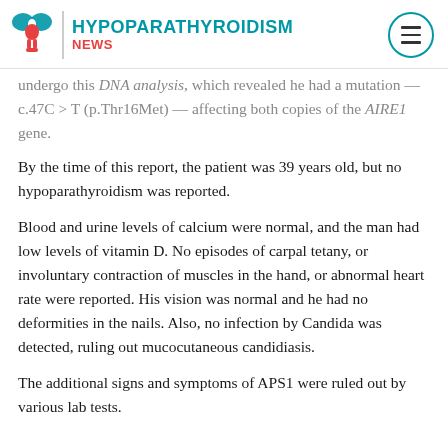HYPOPARATHYROIDISM NEWS
undergo this DNA analysis, which revealed he had a mutation — c.47C > T (p.Thr16Met) — affecting both copies of the AIRE1 gene.
By the time of this report, the patient was 39 years old, but no hypoparathyroidism was reported.
Blood and urine levels of calcium were normal, and the man had low levels of vitamin D. No episodes of carpal tetany, or involuntary contraction of muscles in the hand, or abnormal heart rate were reported. His vision was normal and he had no deformities in the nails. Also, no infection by Candida was detected, ruling out mucocutaneous candidiasis.
The additional signs and symptoms of APS1 were ruled out by various lab tests.